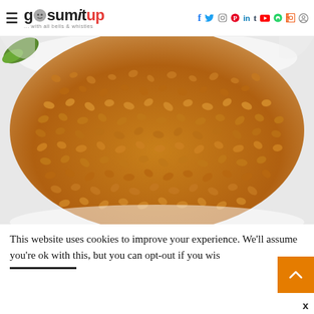≡ gosumitup ... with all bells & whistles — social icons: f, twitter, instagram, pinterest, in, tumblr, youtube, whatsapp, rss, search
[Figure (photo): Close-up photo of fenugreek seeds (methi) piled in a white bowl, with a green leaf visible in the top-left corner. Seeds are golden-brown in color.]
This website uses cookies to improve your experience. We'll assume you're ok with this, but you can opt-out if you wis